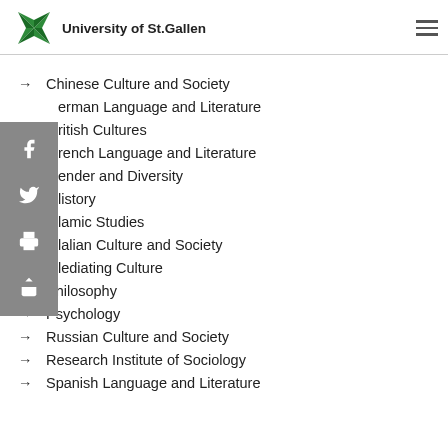[Figure (logo): University of St.Gallen logo with green pinwheel/star shape]
University of St.Gallen
→ Chinese Culture and Society
→ German Language and Literature
→ British Cultures
→ French Language and Literature
→ Gender and Diversity
→ History
→ Islamic Studies
→ Italian Culture and Society
→ Mediating Culture
→ Philosophy
→ Psychology
→ Russian Culture and Society
→ Research Institute of Sociology
→ Spanish Language and Literature